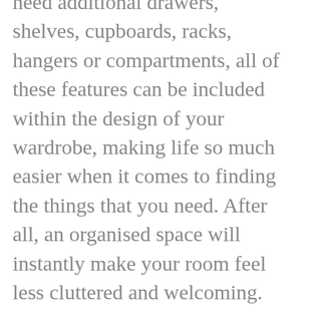need additional drawers, shelves, cupboards, racks, hangers or compartments, all of these features can be included within the design of your wardrobe, making life so much easier when it comes to finding the things that you need. After all, an organised space will instantly make your room feel less cluttered and welcoming. Will complement and enhance your existing decor Fitted wardrobes come in a variety of different materials and finishes. This means that there is sure to be a style that will complement and enhance your existing décor! This is because your fitted wardrobe can be designed and built so that it matches the colour and finish of your existing freestanding, contemporary or traditional furniture pieces. A tangible